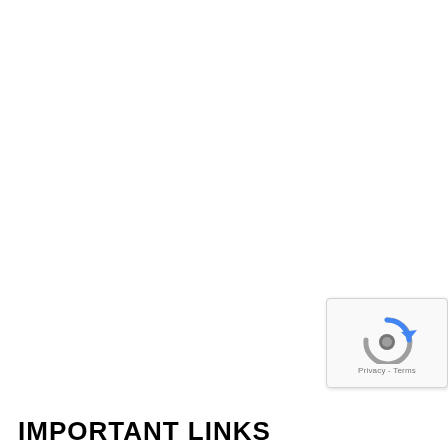[Figure (screenshot): reCAPTCHA widget showing a circular arrow logo with blue and gray colors, and 'Privacy - Terms' text below it, positioned in the lower-right area of the page]
IMPORTANT LINKS